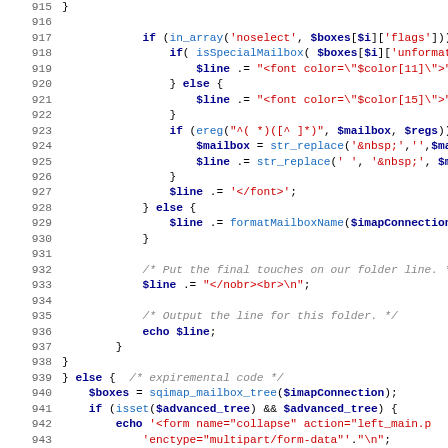[Figure (screenshot): Source code listing in PHP, lines 915-947, showing mailbox folder rendering logic with syntax highlighting: line numbers in gray, keywords in dark blue bold, strings in red, function names in blue, comments in gray italic.]